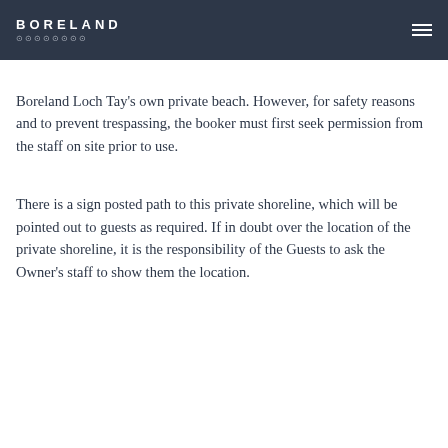BORELAND
Boreland Loch Tay's own private beach. However, for safety reasons and to prevent trespassing, the booker must first seek permission from the staff on site prior to use.
There is a sign posted path to this private shoreline, which will be pointed out to guests as required. If in doubt over the location of the private shoreline, it is the responsibility of the Guests to ask the Owner's staff to show them the location.